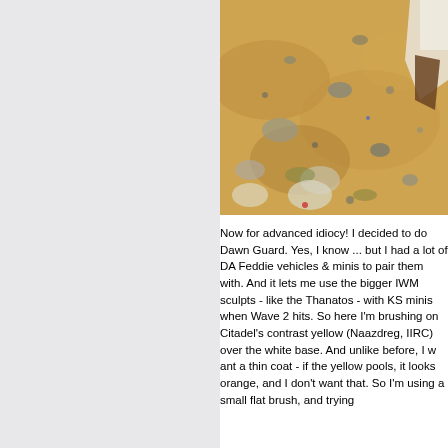[Figure (photo): Close-up photograph of a miniature figure base/terrain piece showing sandy ground with scattered rocks, pebbles, and painted texture in warm ochre and tan tones. A figure or sculpt is partially visible at the top right.]
Now for advanced idiocy! I decided to do Dawn Guard. Yes, I know ... but I had a lot of DA Feddie vehicles & minis to pair them with. And it lets me use the bigger IWM sculpts - like the Thanatos - with KS minis when Wave 2 hits. So here I'm brushing on Citadel's contrast yellow (Naazdreg, IIRC) over the white base. And unlike before, I want a thin coat - if the yellow pools, it looks orange, and I don't want that. So I'm using a small flat brush, and trying